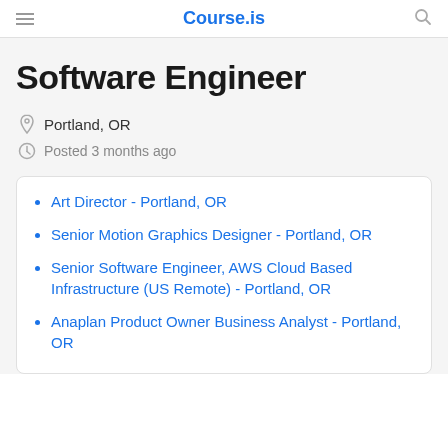Course.is
Software Engineer
Portland, OR
Posted 3 months ago
Art Director - Portland, OR
Senior Motion Graphics Designer - Portland, OR
Senior Software Engineer, AWS Cloud Based Infrastructure (US Remote) - Portland, OR
Anaplan Product Owner Business Analyst - Portland, OR